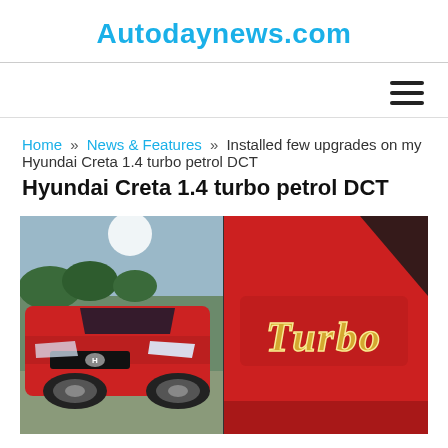Autodaynews.com
Home » News & Features » Installed few upgrades on my Hyundai Creta 1.4 turbo petrol DCT
Installed few upgrades on my Hyundai Creta 1.4 turbo petrol DCT
[Figure (photo): Split image: left half shows red Hyundai Creta SUV front quarter view outdoors with trees in background; right half shows close-up of 'Turbo' chrome badge on red body panel]